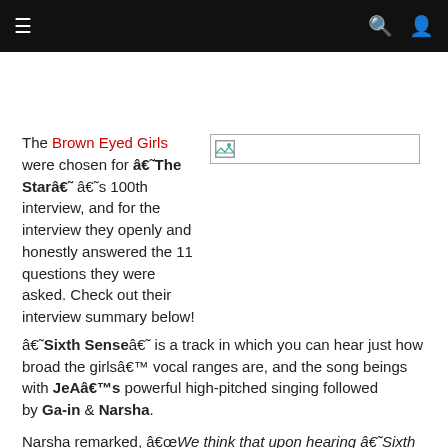≡  🔍  👤
The Brown Eyed Girls were chosen for â€˜The Starâ€˜â€™s 100th interview, and for the interview they openly and honestly answered the 11 questions they were asked. Check out their interview summary below!
[Figure (photo): Image placeholder with broken image icon]
â€˜Sixth Senseâ€˜ is a track in which you can hear just how broad the girlsâ€™ vocal ranges are, and the song beings withÂ JeAâ€™s powerful high-pitched singing followed byÂ Ga-inÂ &Â Narsha.
Narsha remarked, â€œWe think that upon hearing â€˜Sixth Sense,